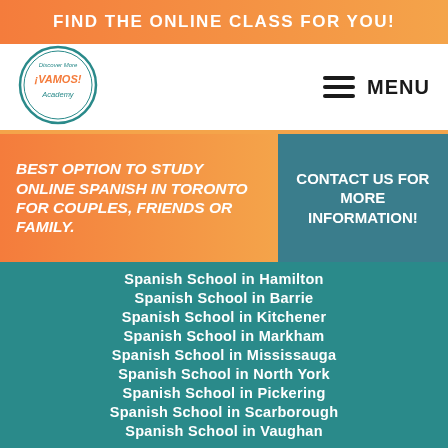FIND THE ONLINE CLASS FOR YOU!
[Figure (logo): Vamos Academy circular logo with 'Discover More ¡VAMOS! Academy' text]
MENU
BEST OPTION TO STUDY ONLINE SPANISH IN TORONTO FOR COUPLES, FRIENDS OR FAMILY.
CONTACT US FOR MORE INFORMATION!
Spanish School in Hamilton
Spanish School in Barrie
Spanish School in Kitchener
Spanish School in Markham
Spanish School in Mississauga
Spanish School in North York
Spanish School in Pickering
Spanish School in Scarborough
Spanish School in Vaughan